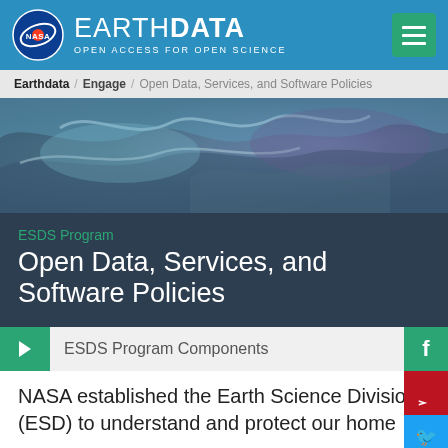EARTH DATA — OPEN ACCESS FOR OPEN SCIENCE
Earthdata / Engage / Open Data, Services, and Software Policies
[Figure (photo): Aerial/satellite view of earth surface with blue-teal color tones]
ESDS Program
Open Data, Services, and Software Policies
ESDS Program Components
NASA established the Earth Science Division (ESD) to understand and protect our home